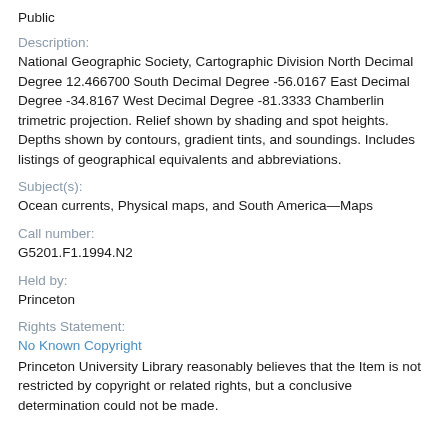Public
Description:
National Geographic Society, Cartographic Division North Decimal Degree 12.466700 South Decimal Degree -56.0167 East Decimal Degree -34.8167 West Decimal Degree -81.3333 Chamberlin trimetric projection. Relief shown by shading and spot heights. Depths shown by contours, gradient tints, and soundings. Includes listings of geographical equivalents and abbreviations.
Subject(s):
Ocean currents, Physical maps, and South America—Maps
Call number:
G5201.F1.1994.N2
Held by:
Princeton
Rights Statement:
No Known Copyright
Princeton University Library reasonably believes that the Item is not restricted by copyright or related rights, but a conclusive determination could not be made.